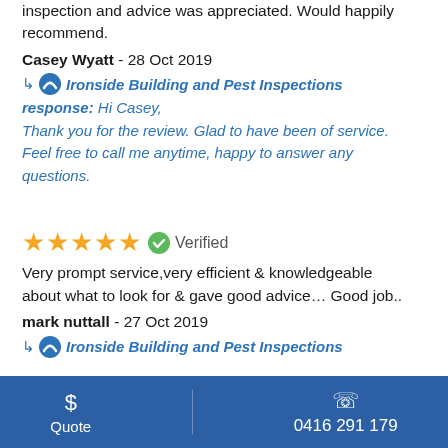inspection and advice was appreciated. Would happily recommend.
Casey Wyatt - 28 Oct 2019
↳ Ironside Building and Pest Inspections response: Hi Casey, Thank you for the review. Glad to have been of service. Feel free to call me anytime, happy to answer any questions.
★★★★★ ✔ Verified
Very prompt service,very efficient & knowledgeable about what to look for & gave good advice… Good job..
mark nuttall - 27 Oct 2019
↳ Ironside Building and Pest Inspections
$ Quote   0416 291 179